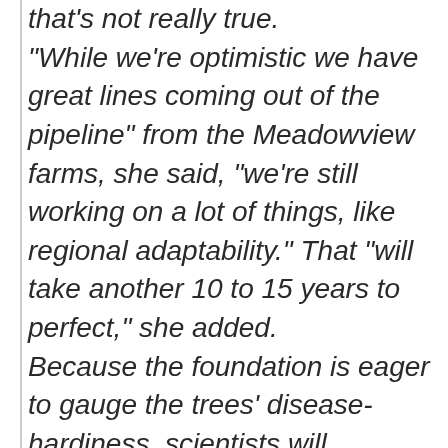that's not really true. “While we’re optimistic we have great lines coming out of the pipeline” from the Meadowview farms, she said, “we’re still working on a lot of things, like regional adaptability.” That “will take another 10 to 15 years to perfect,” she added. Because the foundation is eager to gauge the trees’ disease-hardiness, scientists will probably inoculate some specimens with fungus after they are planted, while letting